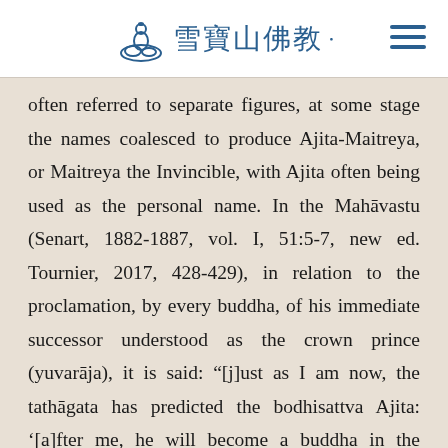雪寶山佛教
often referred to separate figures, at some stage the names coalesced to produce Ajita-Maitreya, or Maitreya the Invincible, with Ajita often being used as the personal name. In the Mahāvastu (Senart, 1882-1887, vol. I, 51:5-7, new ed. Tournier, 2017, 428-429), in relation to the proclamation, by every buddha, of his immediate successor understood as the crown prince (yuvarāja), it is said: “[j]ust as I am now, the tathāgata has predicted the bodhisattva Ajita: '[a]fter me, he will become a buddha in the world, with Ajita as his personal name